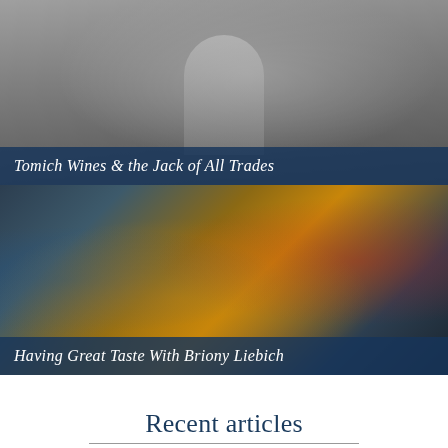[Figure (photo): Black and white photo of a person standing outdoors, possibly in a field or vineyard]
Tomich Wines & the Jack of All Trades
[Figure (photo): Color photo of a group of people sitting around a table tasting wine, including a woman in a yellow top holding a carafe and a woman with bright red hair]
Having Great Taste With Briony Liebich
Recent articles